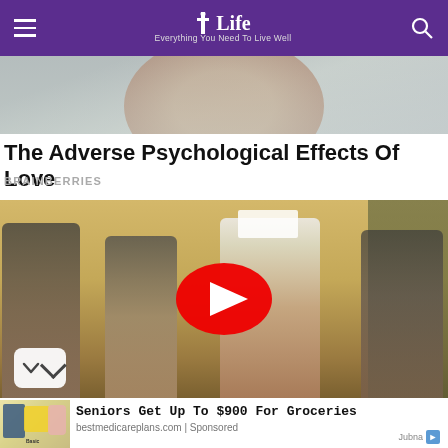Life — Everything You Need To Live Well
[Figure (photo): Partial blurred close-up of a person's face from below, showing chin and neck area]
The Adverse Psychological Effects Of Love
BRAINBERRIES
[Figure (photo): Music band photo with a YouTube play button overlay — four people including a woman in nurse costume and tattooed men, with a chevron/down arrow button bottom left]
[Figure (photo): Ad image showing grocery store items — paper towels, Cottonelle, Bounty Basic, and other products]
Seniors Get Up To $900 For Groceries
bestmedicareplans.com | Sponsored